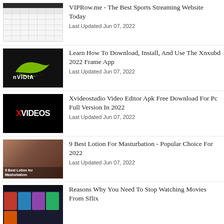[Figure (screenshot): VIPRow.me website screenshot showing sports streaming grid with icons]
VIPRow.me - The Best Sports Streaming Website Today
Last Updated Jun 07, 2022
[Figure (photo): NVIDIA logo on dark background]
Learn How To Download, Install, And Use The Xnxubd 2022 Frame App
Last Updated Jun 07, 2022
[Figure (screenshot): XVIDEOS text logo on black background]
Xvideostudio Video Editor Apk Free Download For Pc Full Version In 2022
Last Updated Jun 07, 2022
[Figure (photo): 9 Best Lotion for Masturbation thumbnail image]
9 Best Lotion For Masturbation - Popular Choice For 2022
Last Updated Jun 07, 2022
[Figure (screenshot): Sflix movie streaming website screenshot]
Reasons Why You Need To Stop Watching Movies From Sflix